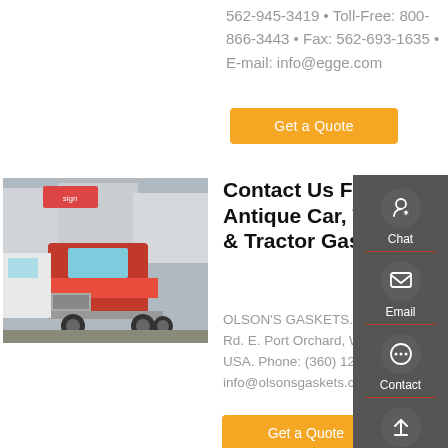562-945-3419 • Toll-Free: 800-866-3443 • Fax: 562-693-1635 • E-mail: info@egge.com
Get a Quote
[Figure (photo): Red semi-truck/tractor in a parking lot with other trucks in background]
Contact Us For Antique Car, Truck, & Tractor Gaskets
OLSON'S GASKETS. 3059 Opdal Rd. E. Port Orchard, WA 98366, USA. Phone: (360) 1207 Email: info@olsonsgaskets.com
Get a Quote